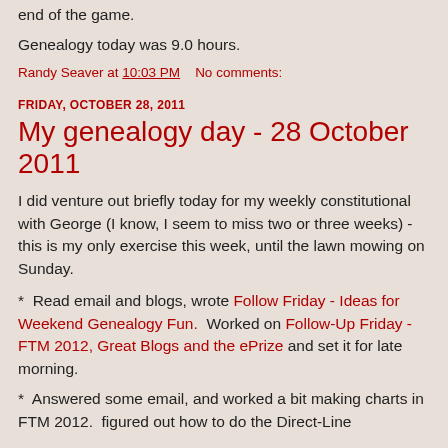end of the game.
Genealogy today was 9.0 hours.
Randy Seaver at 10:03 PM    No comments:
FRIDAY, OCTOBER 28, 2011
My genealogy day - 28 October 2011
I did venture out briefly today for my weekly constitutional with George (I know, I seem to miss two or three weeks) - this is my only exercise this week, until the lawn mowing on Sunday.
*  Read email and blogs, wrote Follow Friday - Ideas for Weekend Genealogy Fun.  Worked on Follow-Up Friday - FTM 2012, Great Blogs and the ePrize and set it for late morning.
*  Answered some email, and worked a bit making charts in FTM 2012.  figured out how to do the Direct-Line